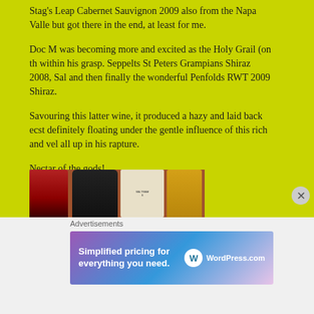Stag's Leap Cabernet Sauvignon 2009 also from the Napa Valle but got there in the end, at least for me.
Doc M was becoming more and excited as the Holy Grail (on th within his grasp. Seppelts St Peters Grampians Shiraz 2008, Sal and then finally the wonderful Penfolds RWT 2009 Shiraz.
Savouring this latter wine, it produced a hazy and laid back ecst definitely floating under the gentle influence of this rich and vel all up in his rapture.
Nectar of the gods!
[Figure (photo): Several wine bottles including a red-capped bottle, a dark wine bottle, one with a white label, and an amber/gold bottle, arranged together on a surface.]
Advertisements
[Figure (infographic): WordPress.com advertisement banner reading 'Simplified pricing for everything you need.' with WordPress.com logo on gradient purple-blue background.]